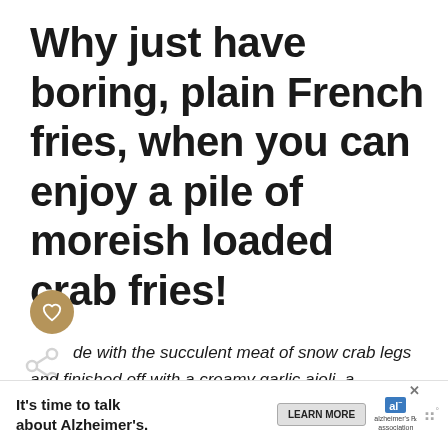Why just have boring, plain French fries, when you can enjoy a pile of moreish loaded crab fries!
de with the succulent meat of snow crab legs and finished off with a creamy garlic aioli, a
g meal on it's own or appetizer that's
perfect for easy entertaining, this crab fries
[Figure (other): Heart/like button icon, brown circle with heart outline]
[Figure (other): Share icon]
WHAT'S NEXT → Seafood Lettuce...
[Figure (photo): Circular thumbnail of seafood lettuce dish]
[Figure (infographic): Advertisement banner: It's time to talk about Alzheimer's. Learn More. Alzheimer's Association logo.]